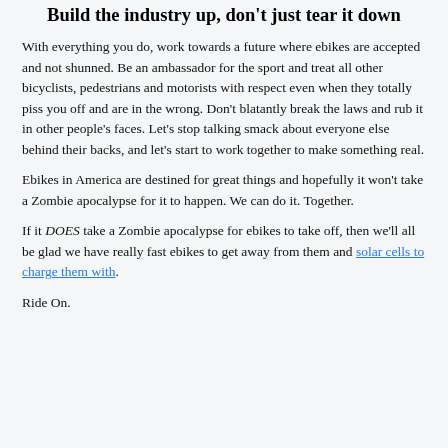Build the industry up, don't just tear it down
With everything you do, work towards a future where ebikes are accepted and not shunned. Be an ambassador for the sport and treat all other bicyclists, pedestrians and motorists with respect even when they totally piss you off and are in the wrong. Don't blatantly break the laws and rub it in other people's faces. Let's stop talking smack about everyone else behind their backs, and let's start to work together to make something real.
Ebikes in America are destined for great things and hopefully it won't take a Zombie apocalypse for it to happen. We can do it. Together.
If it DOES take a Zombie apocalypse for ebikes to take off, then we'll all be glad we have really fast ebikes to get away from them and solar cells to charge them with.
Ride On.